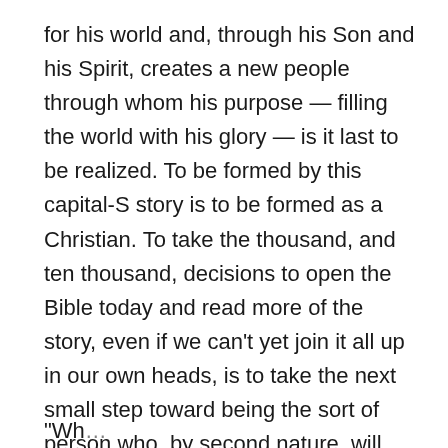for his world and, through his Son and his Spirit, creates a new people through whom his purpose — filling the world with his glory — is it last to be realized. To be formed by this capital-S story is to be formed as a Christian. To take the thousand, and ten thousand, decisions to open the Bible today and read more of the story, even if we can't yet join it all up in our own heads, is to take the next small step toward being the sort of person who, by second nature, will think, pray, act, and even feel in the way appropriate for someone charged with taking that narrative forward.
"Wh...